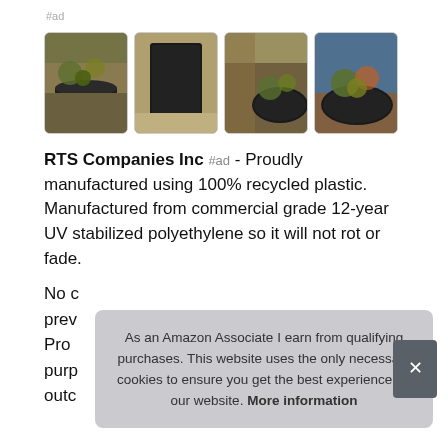#ad
[Figure (photo): Four product photos showing dark plastic planters/pots with plants in outdoor settings]
RTS Companies Inc #ad - Proudly manufactured using 100% recycled plastic. Manufactured from commercial grade 12-year UV stabilized polyethylene so it will not rot or fade.
No [partially visible text] prev[ious] Pro[duct] purp[ose] outc[ome]
As an Amazon Associate I earn from qualifying purchases. This website uses the only necessary cookies to ensure you get the best experience on our website. More information